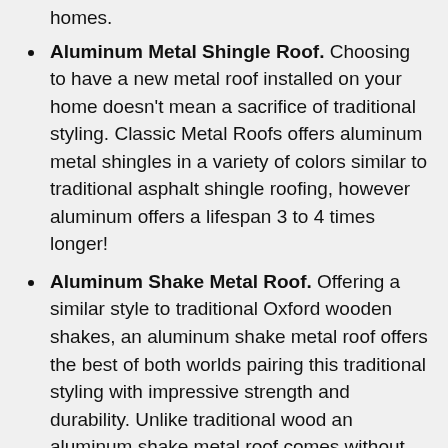homes.
Aluminum Metal Shingle Roof. Choosing to have a new metal roof installed on your home doesn't mean a sacrifice of traditional styling. Classic Metal Roofs offers aluminum metal shingles in a variety of colors similar to traditional asphalt shingle roofing, however aluminum offers a lifespan 3 to 4 times longer!
Aluminum Shake Metal Roof. Offering a similar style to traditional Oxford wooden shakes, an aluminum shake metal roof offers the best of both worlds pairing this traditional styling with impressive strength and durability. Unlike traditional wood an aluminum shake metal roof comes without the worries of rotting and lifting you experience with wood.
Copper and Zinc Metal Roof. For more of a modern, unique, flair, Classic Metal Roofs offers